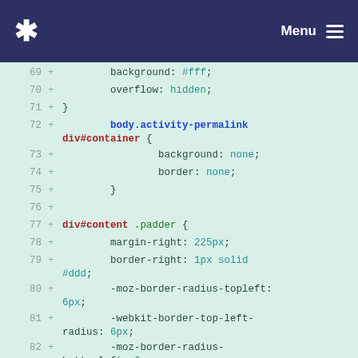* Menu
[Figure (screenshot): Code diff view showing CSS lines 69-83 with line numbers, plus signs, and syntax-highlighted CSS code on a light green background]